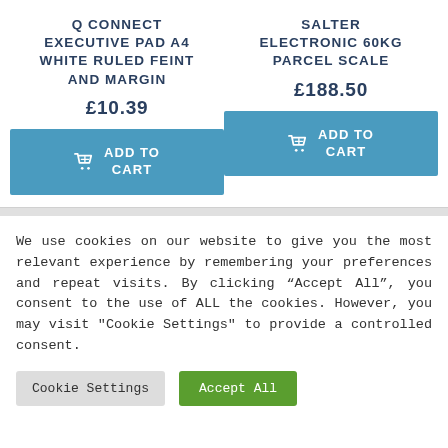Q CONNECT EXECUTIVE PAD A4 WHITE RULED FEINT AND MARGIN
£10.39
SALTER ELECTRONIC 60KG PARCEL SCALE
£188.50
We use cookies on our website to give you the most relevant experience by remembering your preferences and repeat visits. By clicking “Accept All”, you consent to the use of ALL the cookies. However, you may visit "Cookie Settings" to provide a controlled consent.